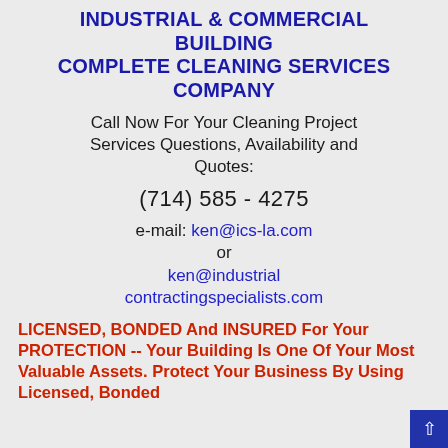INDUSTRIAL & COMMERCIAL BUILDING COMPLETE CLEANING SERVICES COMPANY
Call Now For Your Cleaning Project Services Questions, Availability and Quotes:
(714) 585 - 4275
e-mail: ken@ics-la.com or ken@industrialcontractingspecialists.com
LICENSED, BONDED And INSURED For Your PROTECTION -- Your Building Is One Of Your Most Valuable Assets. Protect Your Business By Using Licensed, Bonded and Insured Contractors ONLY.